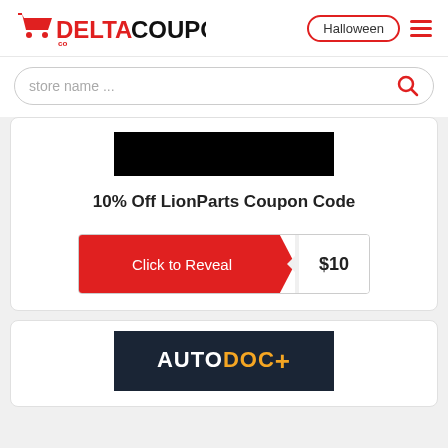DELTACOUPON  Halloween
store name ...
[Figure (logo): Black rectangular LionParts store logo]
10% Off LionParts Coupon Code
[Figure (other): Click to Reveal button with S10 coupon code stub]
[Figure (logo): AUTODOC+ logo on dark navy background]